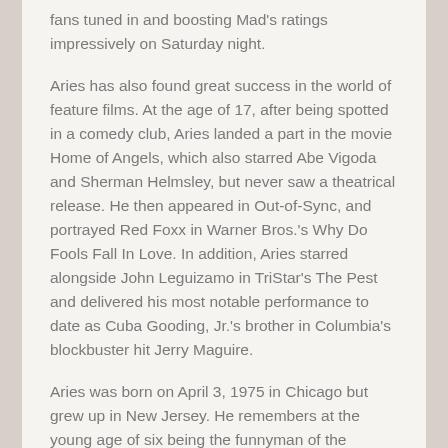fans tuned in and boosting Mad's ratings impressively on Saturday night.
Aries has also found great success in the world of feature films. At the age of 17, after being spotted in a comedy club, Aries landed a part in the movie Home of Angels, which also starred Abe Vigoda and Sherman Helmsley, but never saw a theatrical release. He then appeared in Out-of-Sync, and portrayed Red Foxx in Warner Bros.'s Why Do Fools Fall In Love. In addition, Aries starred alongside John Leguizamo in TriStar's The Pest and delivered his most notable performance to date as Cuba Gooding, Jr.'s brother in Columbia's blockbuster hit Jerry Maguire.
Aries was born on April 3, 1975 in Chicago but grew up in New Jersey. He remembers at the young age of six being the funnyman of the household and